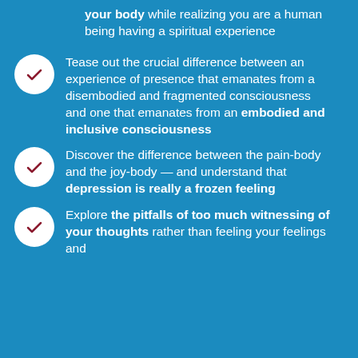your body while realizing you are a human being having a spiritual experience
Tease out the crucial difference between an experience of presence that emanates from a disembodied and fragmented consciousness and one that emanates from an embodied and inclusive consciousness
Discover the difference between the pain-body and the joy-body — and understand that depression is really a frozen feeling
Explore the pitfalls of too much witnessing of your thoughts rather than feeling your feelings and